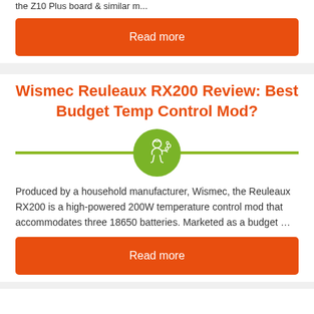the Z10 Plus board & similar m...
Read more
Wismec Reuleaux RX200 Review: Best Budget Temp Control Mod?
[Figure (illustration): Green circle with white line-art icon of a person blowing smoke/vaping, centered on a green horizontal divider line]
Produced by a household manufacturer, Wismec, the Reuleaux RX200 is a high-powered 200W temperature control mod that accommodates three 18650 batteries. Marketed as a budget …
Read more